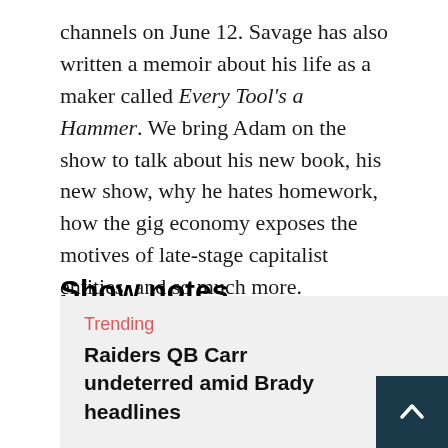channels on June 12. Savage has also written a memoir about his life as a maker called Every Tool's a Hammer. We bring Adam on the show to talk about his new book, his new show, why he hates homework, how the gig economy exposes the motives of late-stage capitalist entities, and so much more.
Show notes
Find Adam Savage on book tour and say hello when he comes to your city. Find Tested on YouTube and at Tested.com.
Trending
Raiders QB Carr undeterred amid Brady headlines